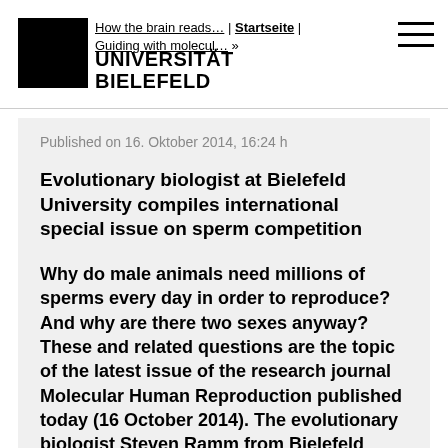UNIVERSITÄT BIELEFELD
How the brain reads... | Startseite | Guiding with molecul... »
Published on 16. Oktober 2014, 16:24 h
Evolutionary biologist at Bielefeld University compiles international special issue on sperm competition
Why do male animals need millions of sperms every day in order to reproduce? And why are there two sexes anyway? These and related questions are the topic of the latest issue of the research journal Molecular Human Reproduction published today (16 October 2014). The evolutionary biologist Steven Ramm from Bielefeld